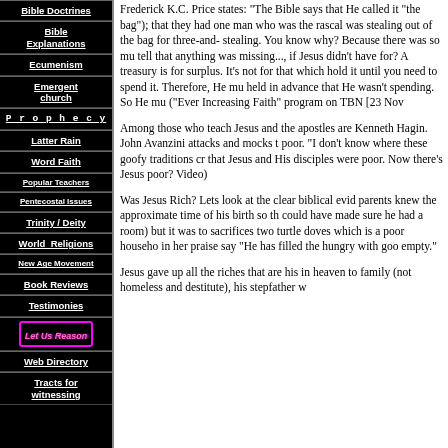Bible Doctrines
Bible Explanations
Ecumenism
Emergent church
Prophecy
Latter Rain
Word Faith
Popular Teachers
Pentecostal Issues
Trinity / Deity
World Religions
New Age Movement
Book Reviews
Testimonies
[Figure (logo): Let Us Reason logo with pink italic text on black background with magenta border]
Web Directory
Tracts for witnessing
Frederick K.C. Price states: "The Bible says that He called it "the bag"); that they had one man who was the rascal was stealing out of the bag for three-and- stealing. You know why? Because there was so mu tell that anything was missing..., if Jesus didn't have for? A treasury is for surplus. It's not for that which hold it until you need to spend it. Therefore, He mu held in advance that He wasn't spending. So He mu ("Ever Increasing Faith" program on TBN [23 Nov
Among those who teach Jesus and the apostles are Kenneth Hagin. John Avanzini attacks and mocks t poor. "I don't know where these goofy traditions cr that Jesus and His disciples were poor. Now there's Jesus poor? Video)
Was Jesus Rich? Lets look at the clear biblical evid parents knew the approximate time of his birth so th could have made sure he had a room) but it was to sacrifices two turtle doves which is a poor househo in her praise say "He has filled the hungry with goo empty."
Jesus gave up all the riches that are his in heaven to family (not homeless and destitute), his stepfather w